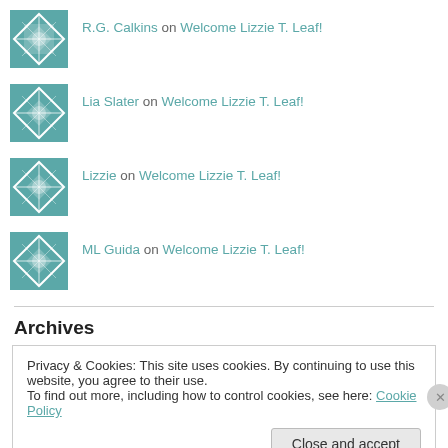R.G. Calkins on Welcome Lizzie T. Leaf!
Lia Slater on Welcome Lizzie T. Leaf!
Lizzie on Welcome Lizzie T. Leaf!
ML Guida on Welcome Lizzie T. Leaf!
Archives
Privacy & Cookies: This site uses cookies. By continuing to use this website, you agree to their use.
To find out more, including how to control cookies, see here: Cookie Policy
Close and accept